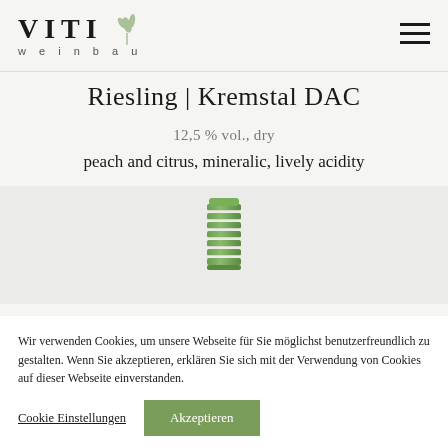VITI weinbau
Riesling | Kremstal DAC
12,5 % vol., dry
peach and citrus, mineralic, lively acidity
[Figure (photo): Green capsule top of a wine bottle against a light gray background]
Wir verwenden Cookies, um unsere Webseite für Sie möglichst benutzerfreundlich zu gestalten. Wenn Sie akzeptieren, erklären Sie sich mit der Verwendung von Cookies auf dieser Webseite einverstanden.
Cookie Einstellungen | Akzeptieren